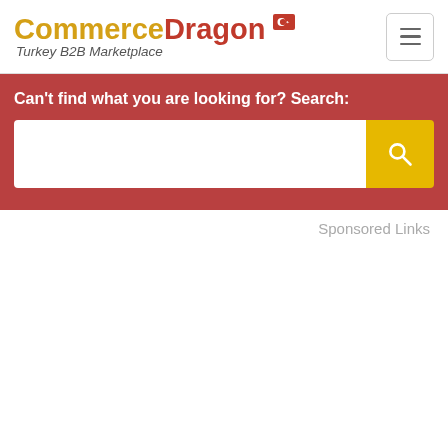CommerceDragon Turkey B2B Marketplace
Can't find what you are looking for? Search:
Sponsored Links